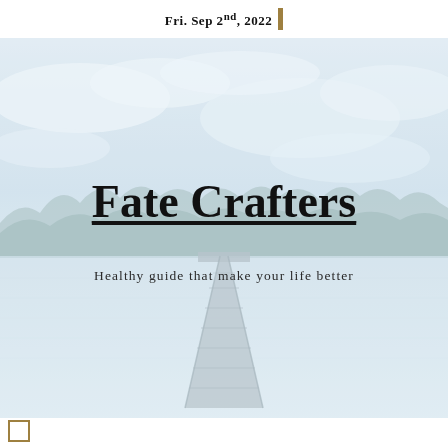Fri. Sep 2nd, 2022
[Figure (photo): A misty, pale blue lake scene with a wooden dock extending into calm water, dense pine forest treeline in the background, and overcast sky above. The image has a very faded, light desaturated look.]
Fate Crafters
Healthy guide that make your life better